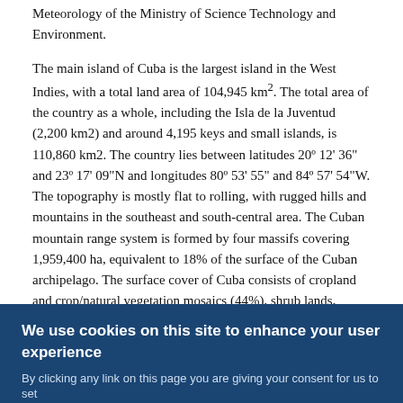Meteorology of the Ministry of Science Technology and Environment.
The main island of Cuba is the largest island in the West Indies, with a total land area of 104,945 km². The total area of the country as a whole, including the Isla de la Juventud (2,200 km2) and around 4,195 keys and small islands, is 110,860 km2. The country lies between latitudes 20º 12' 36" and 23º 17' 09"N and longitudes 80º 53' 55" and 84º 57' 54"W. The topography is mostly flat to rolling, with rugged hills and mountains in the southeast and south-central area. The Cuban mountain range system is formed by four massifs covering 1,959,400 ha, equivalent to 18% of the surface of the Cuban archipelago. The surface cover of Cuba consists of cropland and crop/natural vegetation mosaics (44%), shrub lands, savanna and grasslands (24%), forests (23%) and wetlands (9%) (Earth Trends, 2003).
More Information
We use cookies on this site to enhance your user experience
By clicking any link on this page you are giving your consent for us to set